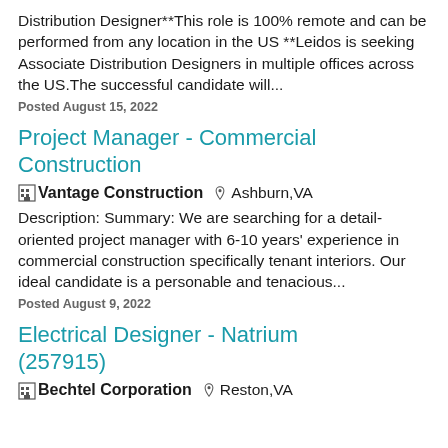Distribution Designer**This role is 100% remote and can be performed from any location in the US **Leidos is seeking Associate Distribution Designers in multiple offices across the US.The successful candidate will...
Posted August 15, 2022
Project Manager - Commercial Construction
Vantage Construction  Ashburn,VA
Description: Summary: We are searching for a detail-oriented project manager with 6-10 years' experience in commercial construction specifically tenant interiors. Our ideal candidate is a personable and tenacious...
Posted August 9, 2022
Electrical Designer - Natrium (257915)
Bechtel Corporation  Reston,VA